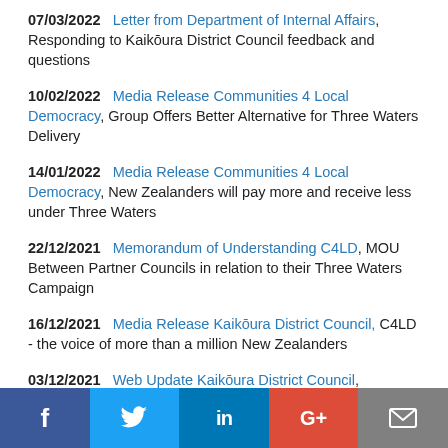07/03/2022  Letter from Department of Internal Affairs, Responding to Kaikōura District Council feedback and questions
10/02/2022  Media Release Communities 4 Local Democracy, Group Offers Better Alternative for Three Waters Delivery
14/01/2022  Media Release Communities 4 Local Democracy, New Zealanders will pay more and receive less under Three Waters
22/12/2021  Memorandum of Understanding C4LD, MOU Between Partner Councils in relation to their Three Waters Campaign
16/12/2021  Media Release Kaikōura District Council, C4LD - the voice of more than a million New Zealanders
03/12/2021  Web Update Kaikōura District Council, Government announced Three Waters Reform
[Figure (other): Social media sharing bar with Facebook, Twitter, LinkedIn, Google+, and Email buttons]